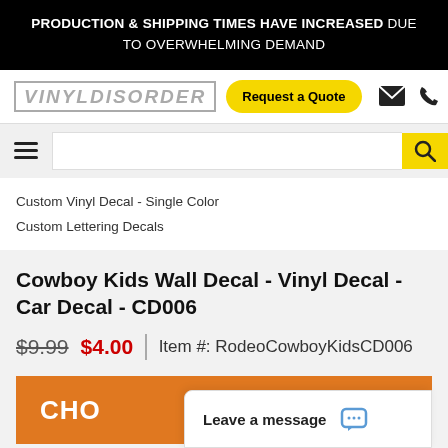PRODUCTION & SHIPPING TIMES HAVE INCREASED DUE TO OVERWHELMING DEMAND
[Figure (logo): VinylDisorder logo in blocky italic uppercase letters with grey border]
Request a Quote
Custom Vinyl Decal - Single Color
Custom Lettering Decals
Cowboy Kids Wall Decal - Vinyl Decal - Car Decal - CD006
$9.99  $4.00  |  Item #: RodeoCowboyKidsCD006
CHO
Leave a message